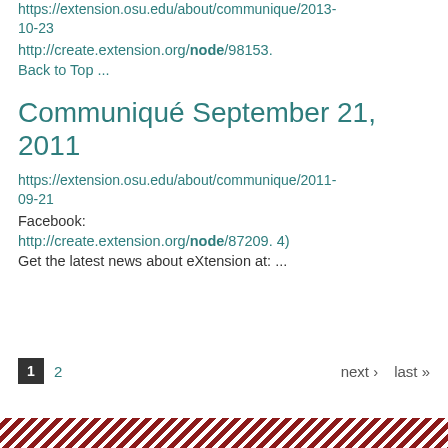https://extension.osu.edu/about/communique/2013-10-23
http://create.extension.org/node/98153.
Back to Top ...
Communiqué September 21, 2011
https://extension.osu.edu/about/communique/2011-09-21
Facebook:
http://create.extension.org/node/87209. 4)
Get the latest news about eXtension at: ...
1  2  next › last »